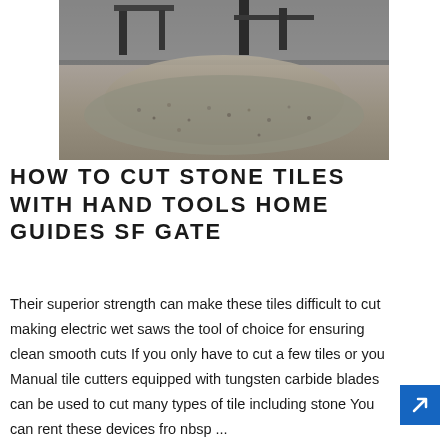[Figure (photo): Photograph of a stone quarry or gravel processing site with heavy machinery and large piles of crushed stone/gravel in the foreground.]
HOW TO CUT STONE TILES WITH HAND TOOLS HOME GUIDES SF GATE
Their superior strength can make these tiles difficult to cut making electric wet saws the tool of choice for ensuring clean smooth cuts If you only have to cut a few tiles or you Manual tile cutters equipped with tungsten carbide blades can be used to cut many types of tile including stone You can rent these devices from nbsp ...